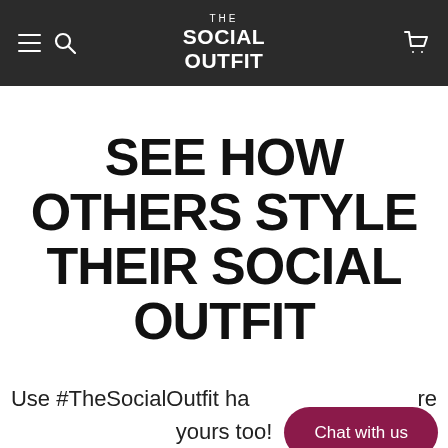THE SOCIAL OUTFIT
SEE HOW OTHERS STYLE THEIR SOCIAL OUTFIT
Use #TheSocialOutfit hashtag to be featured here, yours too!